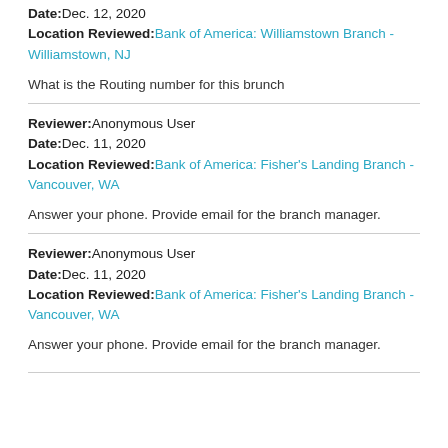Date: Dec. 12, 2020
Location Reviewed: Bank of America: Williamstown Branch - Williamstown, NJ
What is the Routing number for this brunch
Reviewer: Anonymous User
Date: Dec. 11, 2020
Location Reviewed: Bank of America: Fisher's Landing Branch - Vancouver, WA
Answer your phone. Provide email for the branch manager.
Reviewer: Anonymous User
Date: Dec. 11, 2020
Location Reviewed: Bank of America: Fisher's Landing Branch - Vancouver, WA
Answer your phone. Provide email for the branch manager.